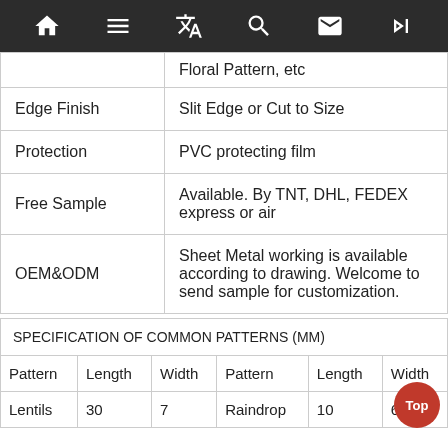Navigation bar with home, list, translate, search, mail, skip icons
| Property | Value |
| --- | --- |
|  | Floral Pattern, etc |
| Edge Finish | Slit Edge or Cut to Size |
| Protection | PVC protecting film |
| Free Sample | Available. By TNT, DHL, FEDEX express or air |
| OEM&ODM | Sheet Metal working is available according to drawing. Welcome to send sample for customization. |
| Pattern | Length | Width | Pattern | Length | Width |
| --- | --- | --- | --- | --- | --- |
| Lentils | 30 | 7 | Raindrop | 10 | 6 |